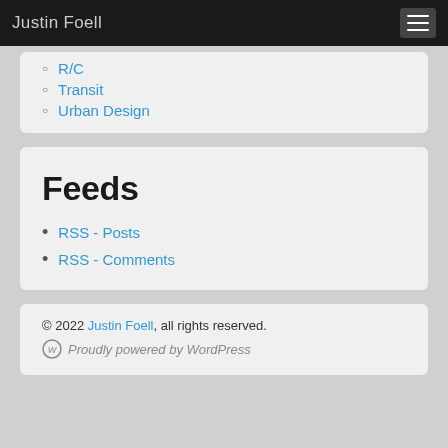Justin Foell
R/C
Transit
Urban Design
Feeds
RSS - Posts
RSS - Comments
© 2022 Justin Foell, all rights reserved. Proudly powered by WordPress